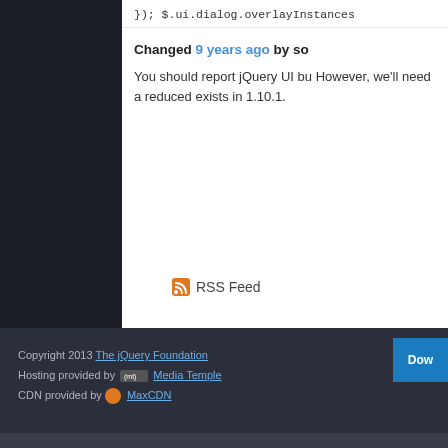}); $.ui.dialog.overlayInstances
Changed 9 years ago by so
You should report jQuery UI bu However, we'll need a reduced exists in 1.10.1.
RSS Feed
Copyright 2013 The jQuery Foundation
Hosting provided by Media Temple
CDN provided by MaxCDN